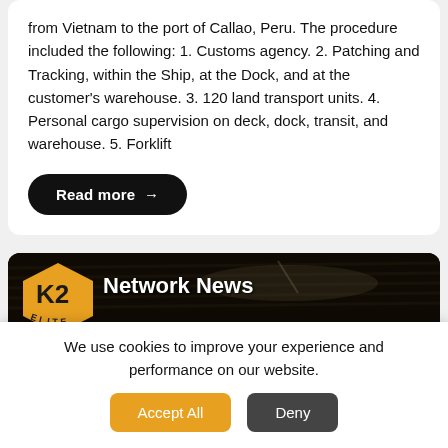from Vietnam to the port of Callao, Peru. The procedure included the following: 1. Customs agency. 2. Patching and Tracking, within the Ship, at the Dock, and at the customer's warehouse. 3. 120 land transport units. 4. Personal cargo supervision on deck, dock, transit, and warehouse. 5. Forklift
Read more →
[Figure (photo): Network News banner image showing a dark warehouse interior with shelves containing wrapped cargo pallets, featuring the K2 Elite logo on the left and 'Network News' text]
We use cookies to improve your experience and performance on our website.
Accept All
Deny